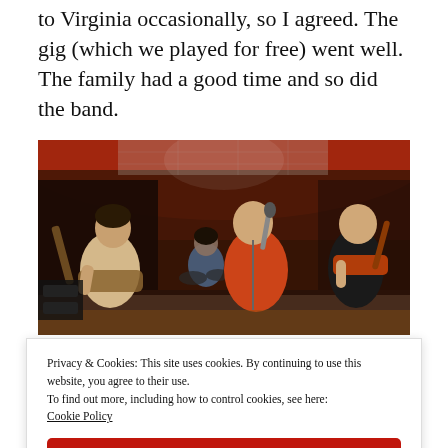to Virginia occasionally, so I agreed. The gig (which we played for free) went well. The family had a good time and so did the band.
[Figure (photo): A band performing on stage in a dimly lit room with red/warm lighting. Four musicians visible: guitarist on left in beige shirt, drummer in center background, vocalist in red/orange t-shirt holding microphone, and bassist on right in black shirt.]
Privacy & Cookies: This site uses cookies. By continuing to use this website, you agree to their use.
To find out more, including how to control cookies, see here: Cookie Policy
Close and accept